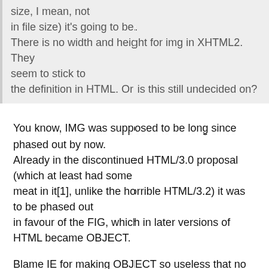size, I mean, not in file size) it's going to be. There is no width and height for img in XHTML2. They seem to stick to the definition in HTML. Or is this still undecided on?
You know, IMG was supposed to be long since phased out by now. Already in the discontinued HTML/3.0 proposal (which at least had some meat in it[1], unlike the horrible HTML/3.2) it was to be phased out in favour of the FIG, which in later versions of HTML became OBJECT.
Blame IE for making OBJECT so useless that no normal